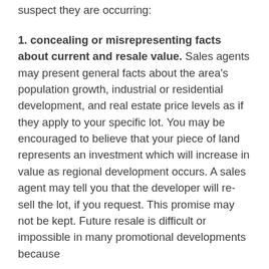suspect they are occurring:
1. concealing or misrepresenting facts about current and resale value. Sales agents may present general facts about the area's population growth, industrial or residential development, and real estate price levels as if they apply to your specific lot. You may be encouraged to believe that your piece of land represents an investment which will increase in value as regional development occurs. A sales agent may tell you that the developer will re-sell the lot, if you request. This promise may not be kept. Future resale is difficult or impossible in many promotional developments because